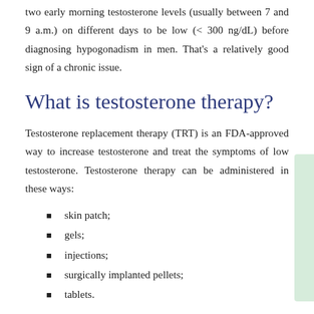two early morning testosterone levels (usually between 7 and 9 a.m.) on different days to be low (< 300 ng/dL) before diagnosing hypogonadism in men. That’s a relatively good sign of a chronic issue.
What is testosterone therapy?
Testosterone replacement therapy (TRT) is an FDA-approved way to increase testosterone and treat the symptoms of low testosterone. Testosterone therapy can be administered in these ways:
skin patch;
gels;
injections;
surgically implanted pellets;
tablets.
Artificial testosterone can cause your body to slow the